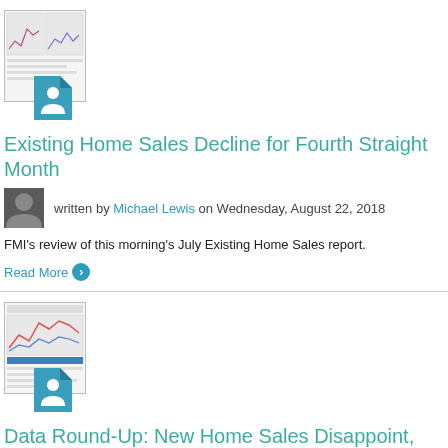[Figure (other): Thumbnail preview of a financial report document with charts, overlaid with a person/file icon badge]
Existing Home Sales Decline for Fourth Straight Month
written by Michael Lewis on Wednesday, August 22, 2018
FMI's review of this morning's July Existing Home Sales report.
Read More
[Figure (other): Thumbnail preview of a financial report document with a line chart and text sections, overlaid with a person/file icon badge]
Data Round-Up: New Home Sales Disappoint, Again